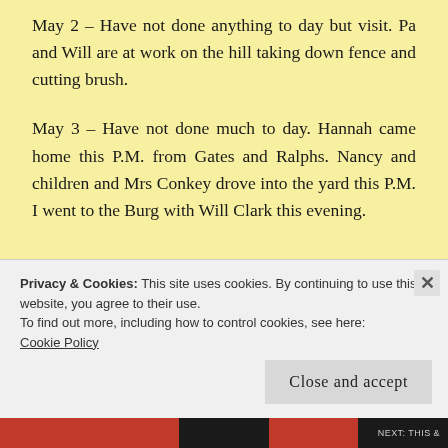May 2 – Have not done anything to day but visit. Pa and Will are at work on the hill taking down fence and cutting brush.
May 3 – Have not done much to day. Hannah came home this P.M. from Gates and Ralphs. Nancy and children and Mrs Conkey drove into the yard this P.M. I went to the Burg with Will Clark this evening.
Privacy & Cookies: This site uses cookies. By continuing to use this website, you agree to their use.
To find out more, including how to control cookies, see here: Cookie Policy
Close and accept